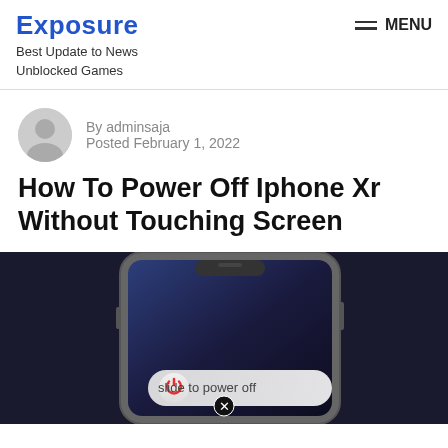Exposure — Best Update to News Unblocked Games
By adminsaja
Posted February 1, 2022
How To Power Off Iphone Xr Without Touching Screen
[Figure (photo): iPhone XR showing power off slider with 'slide to power off' prompt and a red power icon button, with a black X button at the bottom]